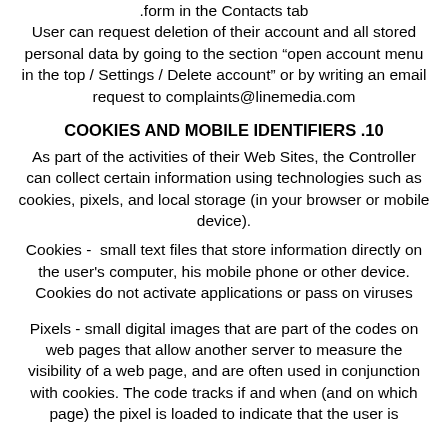.form in the Contacts tab
User can request deletion of their account and all stored personal data by going to the section “open account menu in the top / Settings / Delete account” or by writing an email request to complaints@linemedia.com
COOKIES AND MOBILE IDENTIFIERS .10
As part of the activities of their Web Sites, the Controller can collect certain information using technologies such as cookies, pixels, and local storage (in your browser or mobile device).
Cookies -  small text files that store information directly on the user's computer, his mobile phone or other device. Cookies do not activate applications or pass on viruses
Pixels - small digital images that are part of the codes on web pages that allow another server to measure the visibility of a web page, and are often used in conjunction with cookies. The code tracks if and when (and on which page) the pixel is loaded to indicate that the user is